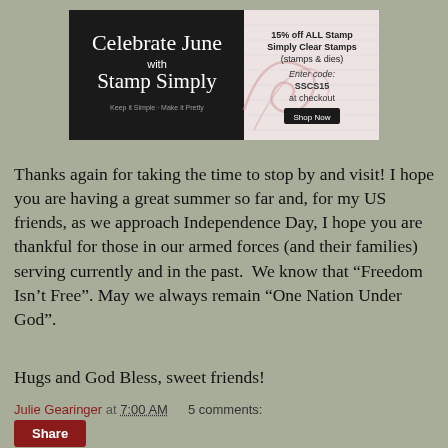[Figure (illustration): Stamp Simply promotional banner ad. Left side has dark/black background with script text 'Celebrate June with Stamp Simply' and tagline 'Keep it Simple · Make it Pretty'. Right side has light pink/cream background with swirl decoration and text '15% off ALL Stamp Simply Clear Stamps (stamps & dies) Enter code: SSCS15 at checkout' and a dark 'Shop Now' button.]
Thanks again for taking the time to stop by and visit! I hope you are having a great summer so far and, for my US friends, as we approach Independence Day, I hope you are thankful for those in our armed forces (and their families) serving currently and in the past.  We know that “Freedom Isn’t Free”. May we always remain “One Nation Under God”.
Hugs and God Bless, sweet friends!
Julie Gearinger at 7:00 AM    5 comments:
Share